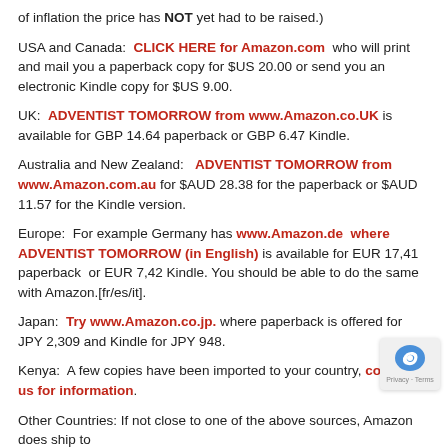of inflation the price has NOT yet had to be raised.)
USA and Canada: CLICK HERE for Amazon.com who will print and mail you a paperback copy for $US 20.00 or send you an electronic Kindle copy for $US 9.00.
UK: ADVENTIST TOMORROW from www.Amazon.co.UK is available for GBP 14.64 paperback or GBP 6.47 Kindle.
Australia and New Zealand: ADVENTIST TOMORROW from www.Amazon.com.au for $AUD 28.38 for the paperback or $AUD 11.57 for the Kindle version.
Europe: For example Germany has www.Amazon.de where ADVENTIST TOMORROW (in English) is available for EUR 17,41 paperback or EUR 7,42 Kindle. You should be able to do the same with Amazon.[fr/es/it].
Japan: Try www.Amazon.co.jp. where paperback is offered for JPY 2,309 and Kindle for JPY 948.
Kenya: A few copies have been imported to your country, contact us for information.
Other Countries: If not close to one of the above sources, Amazon does ship to